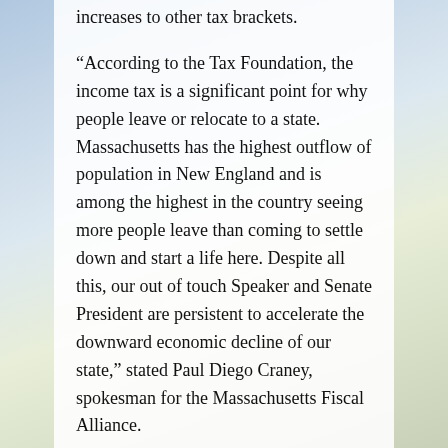increases to other tax brackets.
“According to the Tax Foundation, the income tax is a significant point for why people leave or relocate to a state. Massachusetts has the highest outflow of population in New England and is among the highest in the country seeing more people leave than coming to settle down and start a life here. Despite all this, our out of touch Speaker and Senate President are persistent to accelerate the downward economic decline of our state,” stated Paul Diego Craney, spokesman for the Massachusetts Fiscal Alliance.
“It’s worth noting that pretty much all of the states with high levels of inbound migration have low taxes and continue to improve their tax friendliness. Any rational person looks at this and realizes that the current leadership are completely out of touch with the reality around